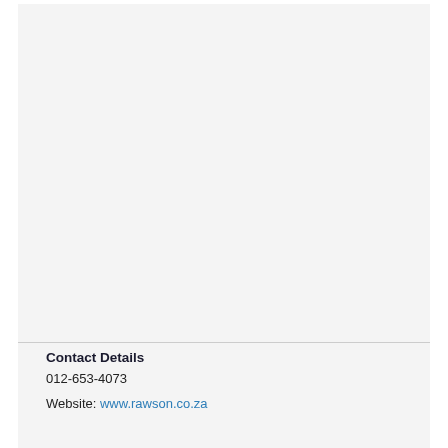Contact Details
012-653-4073
Website: www.rawson.co.za